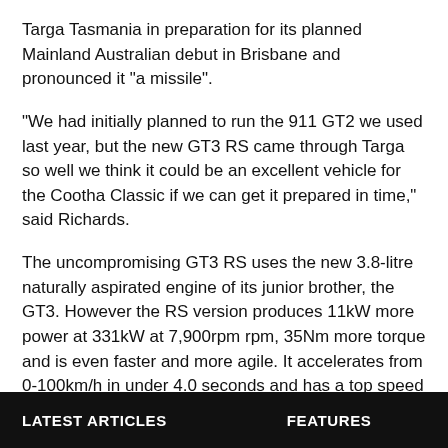Targa Tasmania in preparation for its planned Mainland Australian debut in Brisbane and pronounced it "a missile".
"We had initially planned to run the 911 GT2 we used last year, but the new GT3 RS came through Targa so well we think it could be an excellent vehicle for the Cootha Classic if we can get it prepared in time," said Richards.
The uncompromising GT3 RS uses the new 3.8-litre naturally aspirated engine of its junior brother, the GT3. However the RS version produces 11kW more power at 331kW at 7,900rpm rpm, 35Nm more torque and is even faster and more agile. It accelerates from 0-100km/h in under 4.0 seconds and has a top speed of 312km/h.
This year's Cootha Classic follows the success of the 2009 event staged by the Historic Racing Car Club of Queensland as part of Brisbane City Council's 150 years celebrations
LATEST ARTICLES   FEATURES